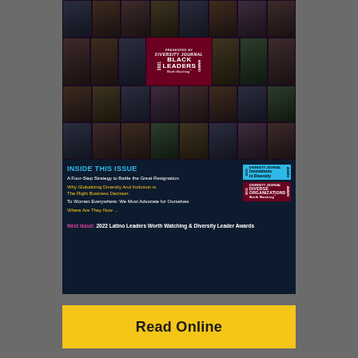[Figure (photo): Diversity Journal 2021 Black Leaders Worth Watching award magazine cover showing a grid of professional headshots of Black leaders with the award badge in the center on a dark navy background]
INSIDE THIS ISSUE
A Four-Step Strategy to Battle the Great Resignation
Why Globalizing Diversity And Inclusion is The Right Business Decision
To Women Everywhere: We Must Advocate for Ourselves
Where Are They Now ...
Next Issue: 2022 Latino Leaders Worth Watching & Diversity Leader Awards
Read Online